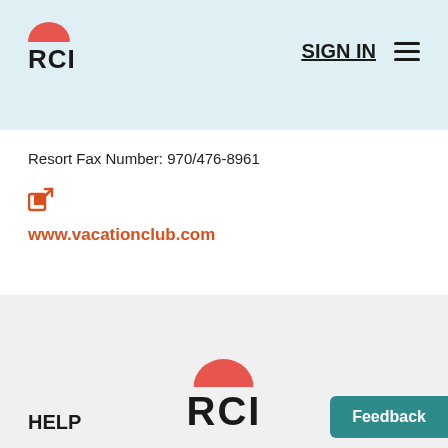[Figure (logo): RCI logo with red semi-circle bowl shape above bold RCI text, top left of header]
SIGN IN
Resort Fax Number: 970/476-8961
[Figure (illustration): Orange external link icon (square with arrow)]
www.vacationclub.com
[Figure (logo): RCI logo centered in footer area with red semi-circle bowl shape above bold RCI text]
HELP
Feedback